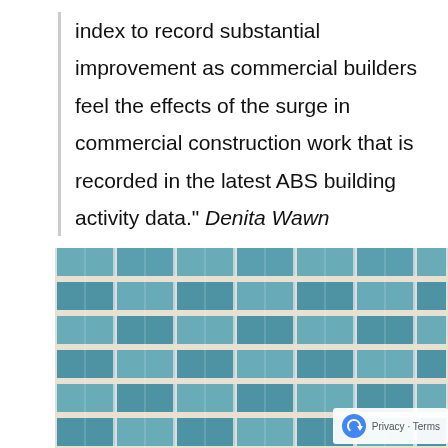index to record substantial improvement as commercial builders feel the effects of the surge in commercial construction work that is recorded in the latest ABS building activity data." Denita Wawn
[Figure (photo): Close-up photograph of a modern high-rise building facade showing multiple floors with curved white balconies and teal/blue glass windows arranged in a repeating wave pattern.]